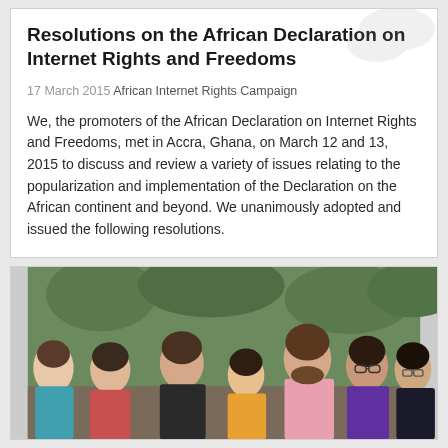Resolutions on the African Declaration on Internet Rights and Freedoms
17 March 2015 African Internet Rights Campaign
We, the promoters of the African Declaration on Internet Rights and Freedoms, met in Accra, Ghana, on March 12 and 13, 2015 to discuss and review a variety of issues relating to the popularization and implementation of the Declaration on the African continent and beyond. We unanimously adopted and issued the following resolutions.
[Figure (photo): Group photo of approximately 7 people standing together outdoors, smiling at the camera. The group includes men and women of diverse backgrounds.]